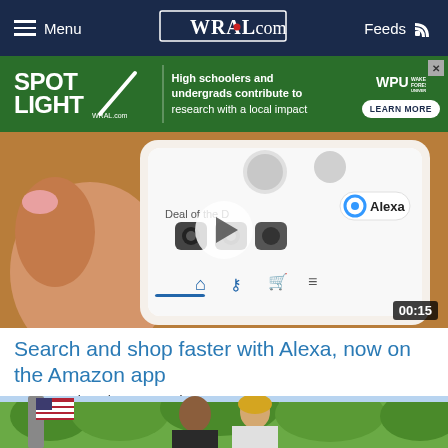Menu | WRAL.com | Feeds
[Figure (advertisement): SPOTLIGHT ad banner with text: High schoolers and undergrads contribute to research with a local impact. WPU logo and LEARN MORE button.]
[Figure (screenshot): Video thumbnail showing Amazon app on smartphone with Alexa interface, Deal of the Day visible, play button overlay, duration 00:15]
Search and shop faster with Alexa, now on the Amazon app
Amazon Alexa | Sponsored
[Figure (photo): Photo of two people standing outdoors with American flag and green trees in background]